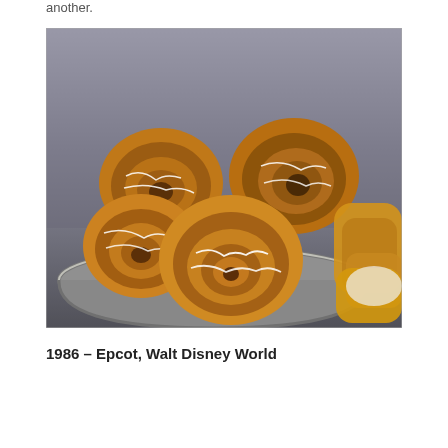another.
[Figure (photo): A bowl filled with large cinnamon rolls with white icing drizzled on top, alongside what appear to be bread rolls or pastries to the right side, photographed in a bakery or kitchen setting.]
1986 – Epcot, Walt Disney World